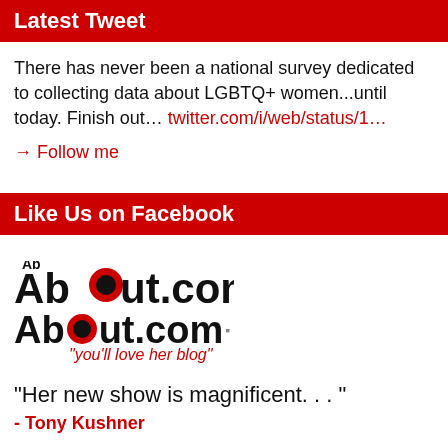Latest Tweet
There has never been a national survey dedicated to collecting data about LGBTQ+ women...until today. Finish out… twitter.com/i/web/status/1…
→ Follow me
Like Us on Facebook
[Figure (logo): About.com logo with tagline 'you'll love her blog']
"Her new show is magnificent. . . "
- Tony Kushner
"Quick-witted, clear-spoken... She has developed a bizarrely logical, seemingly